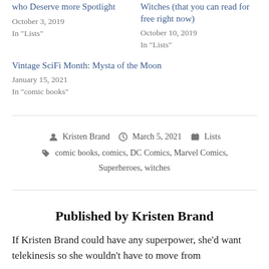who Deserve more Spotlight
October 3, 2019
In "Lists"
Witches (that you can read for free right now)
October 10, 2019
In "Lists"
Vintage SciFi Month: Mysta of the Moon
January 15, 2021
In "comic books"
Posted by Kristen Brand  March 5, 2021  Lists
Tags: comic books, comics, DC Comics, Marvel Comics, Superheroes, witches
Published by Kristen Brand
If Kristen Brand could have any superpower, she'd want telekinesis so she wouldn't have to move from